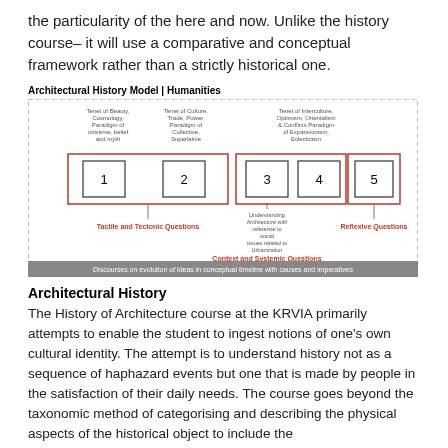the particularity of the here and now. Unlike the history course– it will use a comparative and conceptual framework rather than a strictly historical one.
Architectural History Model | Humanities
[Figure (flowchart): Architectural History Model diagram showing 5 numbered boxes (1–5) grouped by red outlines. Boxes 1 and 2 are grouped under 'Tactile and Tectonic Questions', boxes 3 and 4 under 'Context and Systemic Questions', and box 5 under 'Reflexive Questions'. Above the boxes are text annotations: Tenet of Beauty, Cosmology, Paradigm of universe, belief and myth (above 1-2); Tenet of Culture, Trade, Power, Paradigm of Collective, Superlative (above 2); Tenet of Interculture, Optimism, Orientalism & Conflicts, Paradigm of Expansionism, Eclecticism (above 3-4). Below box 3-4 is text: Understanding Architecture with reference to social issues related to Urbanization. A gray bar at the bottom reads: Discourses on evolution of ideas in conceptual timeline with causes and imperatives.]
Architectural History
The History of Architecture course at the KRVIA primarily attempts to enable the student to ingest notions of one's own cultural identity. The attempt is to understand history not as a sequence of haphazard events but one that is made by people in the satisfaction of their daily needs. The course goes beyond the taxonomic method of categorising and describing the physical aspects of the historical object to include the